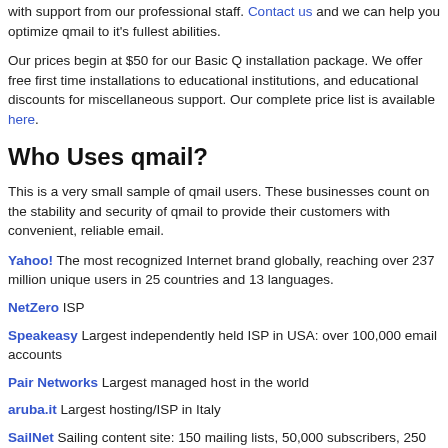with support from our professional staff. Contact us and we can help you optimize qmail to it's fullest abilities.
Our prices begin at $50 for our Basic Q installation package. We offer free first time installations to educational institutions, and educational discounts for miscellaneous support. Our complete price list is available here.
Who Uses qmail?
This is a very small sample of qmail users. These businesses count on the stability and security of qmail to provide their customers with convenient, reliable email.
Yahoo!  The most recognized Internet brand globally, reaching over 237 million unique users in 25 countries and 13 languages.
NetZero ISP
Speakeasy Largest independently held ISP in USA: over 100,000 email accounts
Pair Networks Largest managed host in the world
aruba.it Largest hosting/ISP in Italy
SailNet Sailing content site: 150 mailing lists, 50,000 subscribers, 250 pop accounts